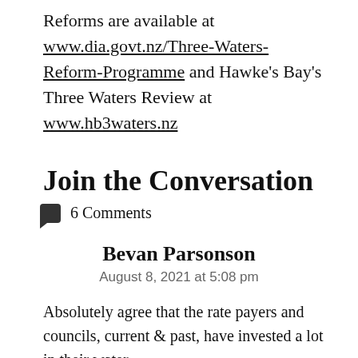Reforms are available at www.dia.govt.nz/Three-Waters-Reform-Programme and Hawke's Bay's Three Waters Review at www.hb3waters.nz
Join the Conversation
6 Comments
Bevan Parsonson
August 8, 2021 at 5:08 pm
Absolutely agree that the rate payers and councils, current & past, have invested a lot in their water